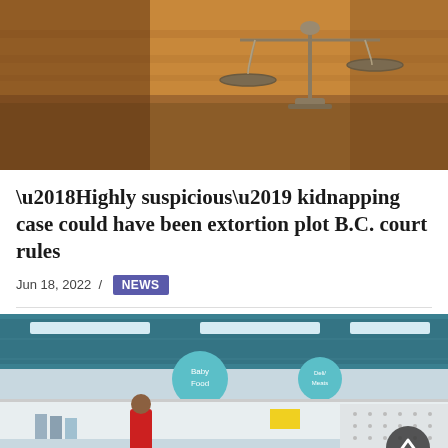[Figure (photo): Scales of justice on a wooden surface in a courtroom setting, warm brown tones]
‘Highly suspicious’ kidnapping case could have been extortion plot B.C. court rules
Jun 18, 2022  /  NEWS
[Figure (photo): Interior of a retail store (pharmacy/department store) with teal circular aisle signs reading Baby Food and other departments, a worker in red uniform visible, shelves with products]